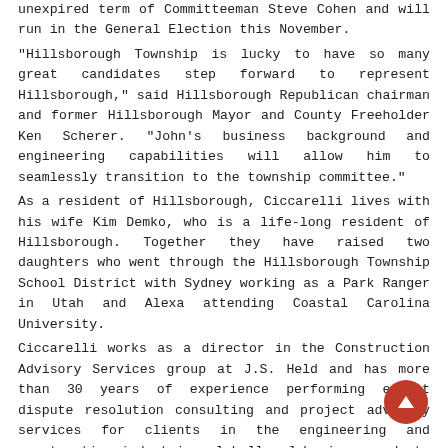unexpired term of Committeeman Steve Cohen and will run in the General Election this November. "Hillsborough Township is lucky to have so many great candidates step forward to represent Hillsborough," said Hillsborough Republican chairman and former Hillsborough Mayor and County Freeholder Ken Scherer. "John's business background and engineering capabilities will allow him to seamlessly transition to the township committee." As a resident of Hillsborough, Ciccarelli lives with his wife Kim Demko, who is a life-long resident of Hillsborough. Together they have raised two daughters who went through the Hillsborough Township School District with Sydney working as a Park Ranger in Utah and Alexa attending Coastal Carolina University. Ciccarelli works as a director in the Construction Advisory Services group at J.S. Held and has more than 30 years of experience performing expert dispute resolution consulting and project advisory services for clients in the engineering and construction industries globally. John is a graduate of the University of Delaware with a B.S. in Civil Engineering, is a licensed Professional Engineer, and also has an M.B.A. with a Real Estate